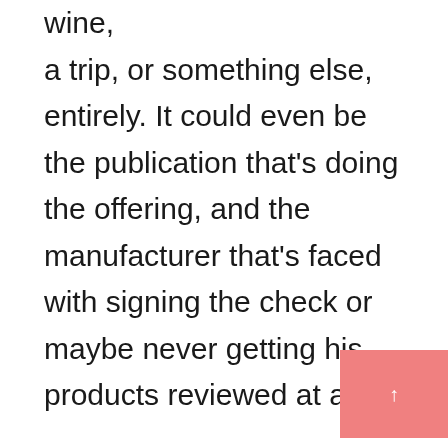wine, a trip, or something else, entirely. It could even be the publication that's doing the offering, and the manufacturer that's faced with signing the check or maybe never getting his products reviewed at all.

The whole issue brings up lots of questions. I can't answer them all, but I'm going to try to answer some as well as I can.

For reasons I'm sure you'll understand